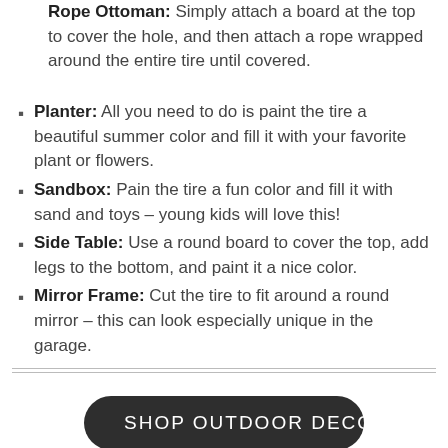Rope Ottoman: Simply attach a board at the top to cover the hole, and then attach a rope wrapped around the entire tire until covered.
Planter: All you need to do is paint the tire a beautiful summer color and fill it with your favorite plant or flowers.
Sandbox: Pain the tire a fun color and fill it with sand and toys – young kids will love this!
Side Table: Use a round board to cover the top, add legs to the bottom, and paint it a nice color.
Mirror Frame: Cut the tire to fit around a round mirror – this can look especially unique in the garage.
SHOP OUTDOOR DECOR